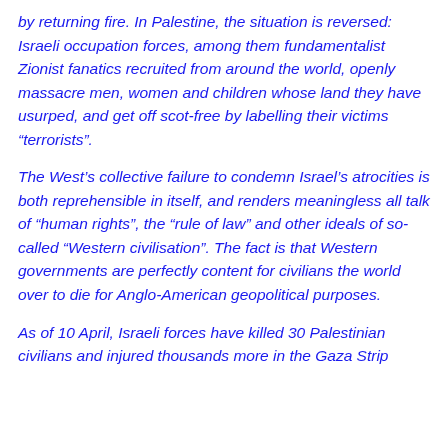by returning fire. In Palestine, the situation is reversed: Israeli occupation forces, among them fundamentalist Zionist fanatics recruited from around the world, openly massacre men, women and children whose land they have usurped, and get off scot-free by labelling their victims “terrorists”.
The West’s collective failure to condemn Israel’s atrocities is both reprehensible in itself, and renders meaningless all talk of “human rights”, the “rule of law” and other ideals of so-called “Western civilisation”. The fact is that Western governments are perfectly content for civilians the world over to die for Anglo-American geopolitical purposes.
As of 10 April, Israeli forces have killed 30 Palestinian civilians and injured thousands more in the Gaza Strip